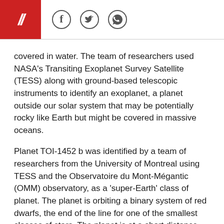// [social icons: Facebook, Twitter, WhatsApp]
covered in water. The team of researchers used NASA's Transiting Exoplanet Survey Satellite (TESS) along with ground-based telescopic instruments to identify an exoplanet, a planet outside our solar system that may be potentially rocky like Earth but might be covered in massive oceans.
Planet TOI-1452 b was identified by a team of researchers from the University of Montreal using TESS and the Observatoire du Mont-Mégantic (OMM) observatory, as a 'super-Earth' class of planet. The planet is orbiting a binary system of red dwarfs, the end of the line for one of the smallest classes of stars. The planet is at a short distance away from the main star, its 'year' only lasting 11 days but is still in the habitable zone where liquid water could exist because the star's luminosity and heat are quite low.